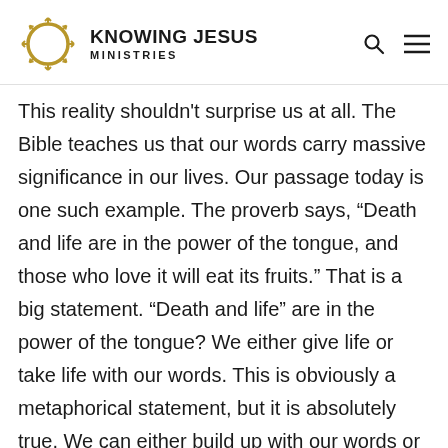KNOWING JESUS MINISTRIES
This reality shouldn't surprise us at all. The Bible teaches us that our words carry massive significance in our lives. Our passage today is one such example. The proverb says, “Death and life are in the power of the tongue, and those who love it will eat its fruits.” That is a big statement. “Death and life” are in the power of the tongue? We either give life or take life with our words. This is obviously a metaphorical statement, but it is absolutely true. We can either build up with our words or tear down with them.